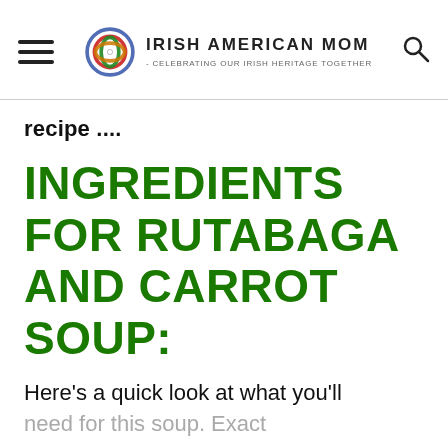Irish American Mom - Celebrating Our Irish Heritage Together
recipe ....
INGREDIENTS FOR RUTABAGA AND CARROT SOUP:
Here's a quick look at what you'll need for this soup. Exact